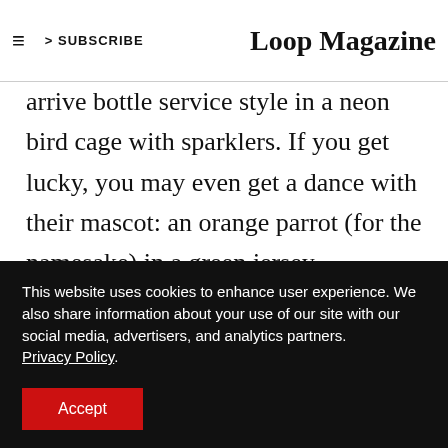≡  > SUBSCRIBE  Loop Magazine
arrive bottle service style in a neon bird cage with sparklers. If you get lucky, you may even get a dance with their mascot: an orange parrot (for the namesake) in a green jersey. Although we may not remember it all, the flowing drinks, the wild ambiance, and the tasty bites ensured that this night
This website uses cookies to enhance user experience. We also share information about your use of our site with our social media, advertisers, and analytics partners. Privacy Policy. Accept